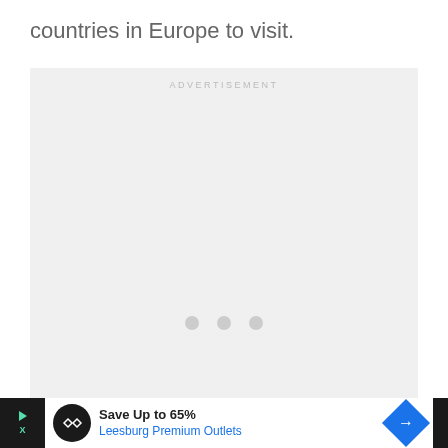countries in Europe to visit.
[Figure (other): Advertisement placeholder box with 'ADVERTISEMENT' label at top and three loading dots in the center]
[Figure (other): Advertisement banner at bottom: 'Save Up to 65% Leesburg Premium Outlets' with circular black logo, blue diamond navigation icon, and dark app icon on right]